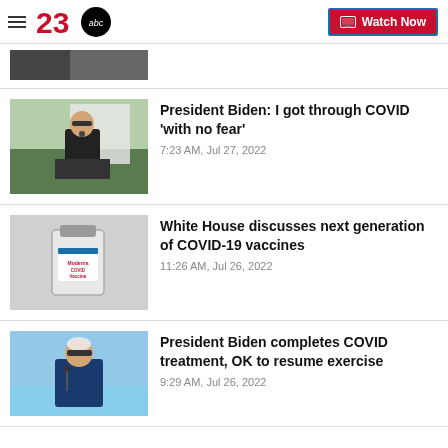23abc News | Watch Now
[Figure (screenshot): Partially cropped news thumbnail image at top]
President Biden: I got through COVID 'with no fear'
7:23 AM, Jul 27, 2022
White House discusses next generation of COVID-19 vaccines
11:26 AM, Jul 26, 2022
President Biden completes COVID treatment, OK to resume exercise
9:29 AM, Jul 26, 2022